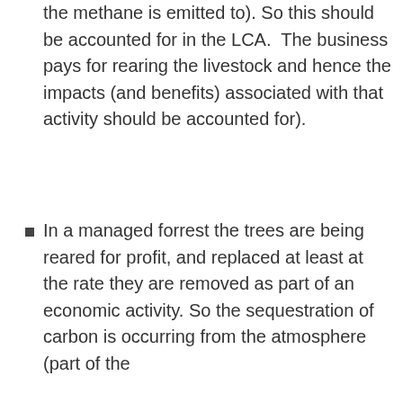the methane is emitted to). So this should be accounted for in the LCA. The business pays for rearing the livestock and hence the impacts (and benefits) associated with that activity should be accounted for).
In a managed forrest the trees are being reared for profit, and replaced at least at the rate they are removed as part of an economic activity. So the sequestration of carbon is occurring from the atmosphere (part of the